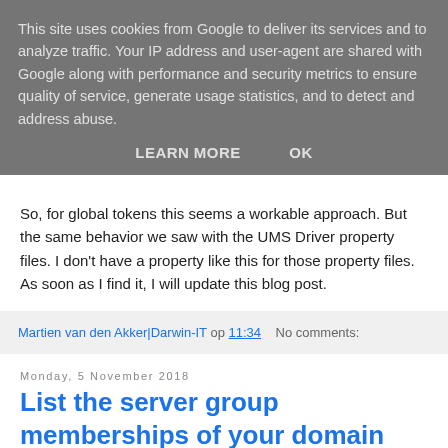This site uses cookies from Google to deliver its services and to analyze traffic. Your IP address and user-agent are shared with Google along with performance and security metrics to ensure quality of service, generate usage statistics, and to detect and address abuse.
LEARN MORE    OK
So, for global tokens this seems a workable approach. But the same behavior we saw with the UMS Driver property files. I don't have a property like this for those property files. As soon as I find it, I will update this blog post.
Martien van den Akker|Darwin-IT op 11:34    No comments:
Monday, 5 November 2018
List the server group memberships of your domain
Last few years I posted on installation of Fusion Middleware.